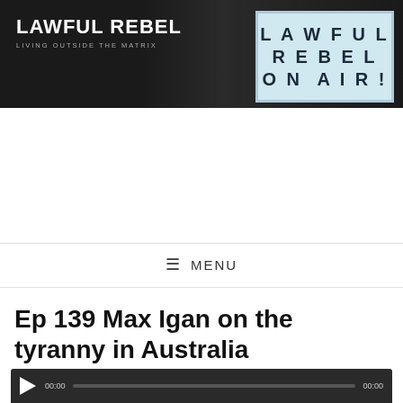[Figure (screenshot): Lawful Rebel website header banner with dark background showing a shadowed face silhouette in the center and a lit lightboard sign on the right reading 'LAWFUL REBEL ON AIR!']
LAWFUL REBEL — LIVING OUTSIDE THE MATRIX
≡ MENU
Ep 139 Max Igan on the tyranny in Australia
[Figure (screenshot): Audio player bar with play button, timestamp 00:00 on left, progress bar, and 00:00 on right, dark background]